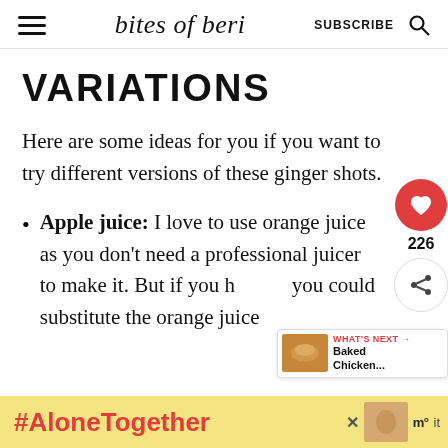bites of beri — SUBSCRIBE
VARIATIONS
Here are some ideas for you if you want to try different versions of these ginger shots.
Apple juice: I love to use orange juice as you don't need a professional juicer to make it. But if you h... you could substitute the orange juice
[Figure (screenshot): Floating action buttons: red heart button with count 226 and share button; What's Next panel showing Baked Chicken...]
#AloneTogether — ad banner at bottom